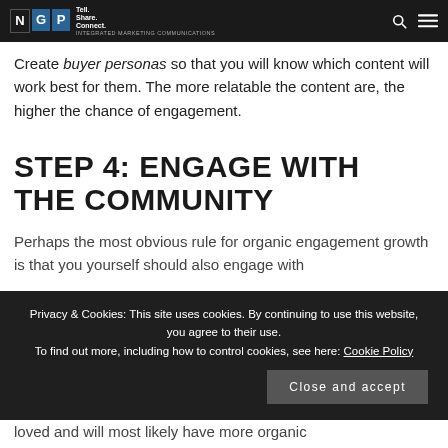NGP | Tell. Share. Connect. | Integrated Marketing Communications
Create buyer personas so that you will know which content will work best for them. The more relatable the content are, the higher the chance of engagement.
STEP 4: ENGAGE WITH THE COMMUNITY
Perhaps the most obvious rule for organic engagement growth is that you yourself should also engage with
Privacy & Cookies: This site uses cookies. By continuing to use this website, you agree to their use.
To find out more, including how to control cookies, see here: Cookie Policy
loved and will most likely have more organic